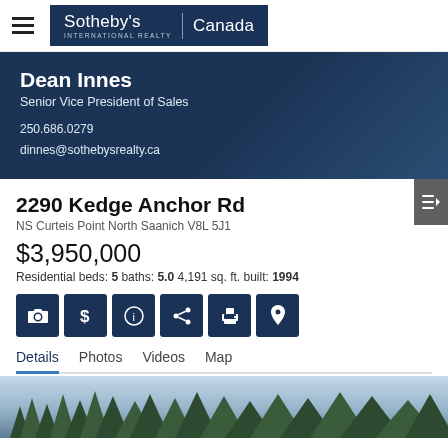[Figure (logo): Sotheby's International Realty Canada logo on dark navy background]
Dean Innes
Senior Vice President of Sales
250.686.0279
dinnes@sothebysrealty.ca
2290 Kedge Anchor Rd
NS Curteis Point North Saanich V8L 5J1
$3,950,000
Residential beds: 5 baths: 5.0 4,191 sq. ft. built: 1994
Details  Photos  Videos  Map
[Figure (photo): Aerial or landscape photo of property with trees and sky at bottom of page]